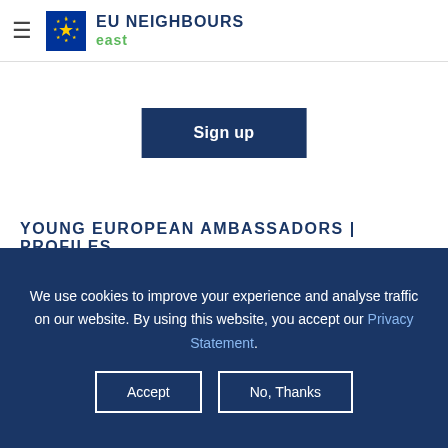EU NEIGHBOURS east
[Figure (logo): EU flag logo with stars on blue background, beside text 'EU NEIGHBOURS east' with 'east' in green]
[Figure (photo): Sign up button - dark blue rectangular button with white bold text 'Sign up']
YOUNG EUROPEAN AMBASSADORS |  PROFILES
[Figure (photo): Partial photo of a person's head against a beige/tan background]
We use cookies to improve your experience and analyse traffic on our website. By using this website, you accept our Privacy Statement.
Accept   No, Thanks